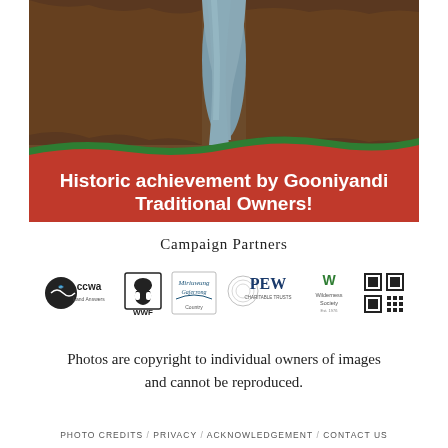[Figure (photo): Aerial view of a river winding through dense reddish-brown forest/bushland, with a rust-red banner overlay at the bottom containing white bold text reading 'Historic achievement by Gooniyandi Traditional Owners!']
Campaign Partners
[Figure (logo): Row of campaign partner logos: CCWA (Conservation Council WA), WWF panda logo, Miriuwung Gajerrong logo, PEW Charitable Trusts logo, Wilderness Society logo, QR code]
Photos are copyright to individual owners of images and cannot be reproduced.
PHOTO CREDITS / PRIVACY / ACKNOWLEDGEMENT / CONTACT US